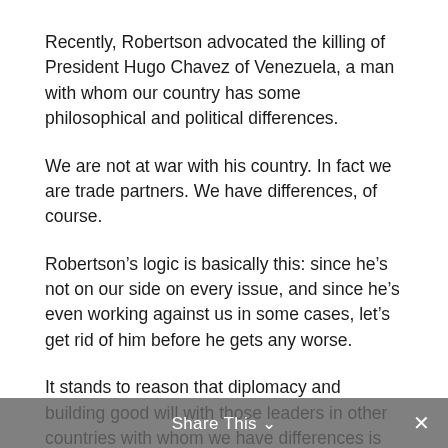Recently, Robertson advocated the killing of President Hugo Chavez of Venezuela, a man with whom our country has some philosophical and political differences.
We are not at war with his country. In fact we are trade partners. We have differences, of course.
Robertson’s logic is basically this: since he’s not on our side on every issue, and since he’s even working against us in some cases, let’s get rid of him before he gets any worse.
It stands to reason that diplomacy and building good will with those leaders in other countries with whom we have differences is the route of choice over assassination. What kind of nation would we
Share This ∨  ✕